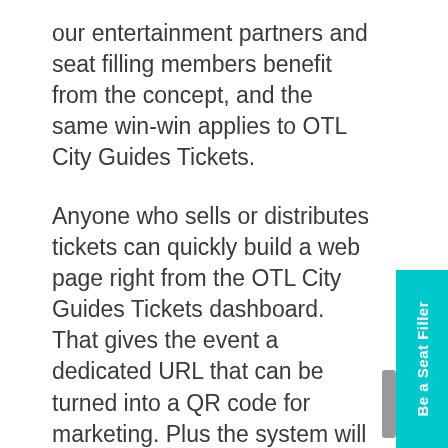our entertainment partners and seat filling members benefit from the concept, and the same win-win applies to OTL City Guides Tickets.
Anyone who sells or distributes tickets can quickly build a web page right from the OTL City Guides Tickets dashboard. That gives the event a dedicated URL that can be turned into a QR code for marketing. Plus the system will kick out website widget code so that every promoter can have a auto-updating list of ticket sales opportunities on their sites as well.